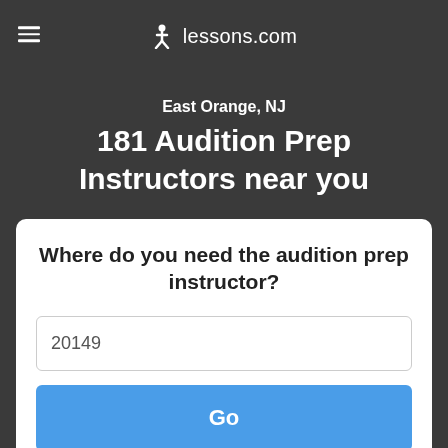lessons.com
East Orange, NJ
181 Audition Prep Instructors near you
Where do you need the audition prep instructor?
20149
Go